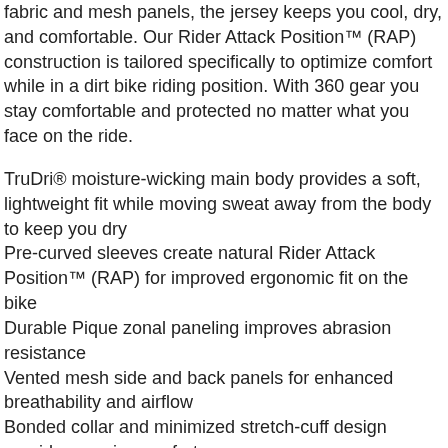fabric and mesh panels, the jersey keeps you cool, dry, and comfortable. Our Rider Attack Position™ (RAP) construction is tailored specifically to optimize comfort while in a dirt bike riding position. With 360 gear you stay comfortable and protected no matter what you face on the ride.
TruDri® moisture-wicking main body provides a soft, lightweight fit while moving sweat away from the body to keep you dry
Pre-curved sleeves create natural Rider Attack Position™ (RAP) for improved ergonomic fit on the bike
Durable Pique zonal paneling improves abrasion resistance
Vented mesh side and back panels for enhanced breathability and airflow
Bonded collar and minimized stretch-cuff design provide superior comfort
Drop tail design keeps jersey tucked in pants
Dyed and sublimated main body panels with premium graphics for a rich, durable, and long-lasting aesthetic